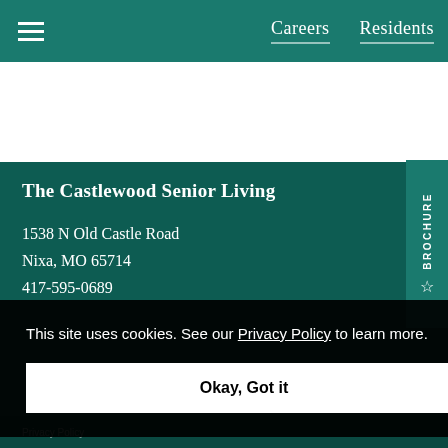Careers   Residents
The Castlewood Senior Living
1538 N Old Castle Road
Nixa, MO 65714
417-595-0689
This site uses cookies. See our Privacy Policy to learn more.
Okay, Got it
Privacy Policy